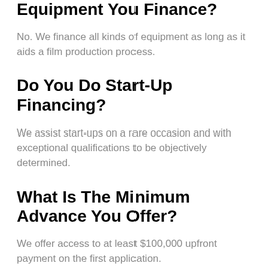Equipment You Finance?
No. We finance all kinds of equipment as long as it aids a film production process.
Do You Do Start-Up Financing?
We assist start-ups on a rare occasion and with exceptional qualifications to be objectively determined.
What Is The Minimum Advance You Offer?
We offer access to at least $100,000 upfront payment on the first application.